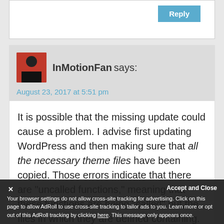[Figure (screenshot): Reply button area - white input box with a blue Reply button in the top right]
InMotionFan says:
August 23, 2017 at 5:51 pm
It is possible that the missing update could cause a problem. I advise first updating WordPress and then making sure that all the necessary theme files have been copied. Those errors indicate that there are “uncalled functions,” meaning that these functions are being “called” but the files in which they are defined containing.
Accept and Close
Your browser settings do not allow cross-site tracking for advertising. Click on this page to allow AdRoll to use cross-site tracking to tailor ads to you. Learn more or opt out of this AdRoll tracking by clicking here. This message only appears once.